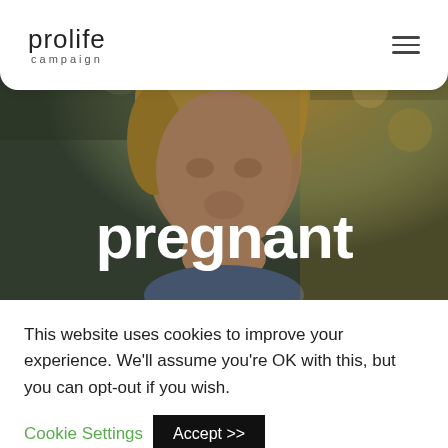prolife campaign
[Figure (photo): Hero background photo of a young child with blonde hair smiling, bokeh outdoor background with warm golden light, overlaid with large white bold text 'pregnant']
pregnant
This website uses cookies to improve your experience. We'll assume you're OK with this, but you can opt-out if you wish. Cookie Settings  Accept >>  Privacy / Cookie Policy.